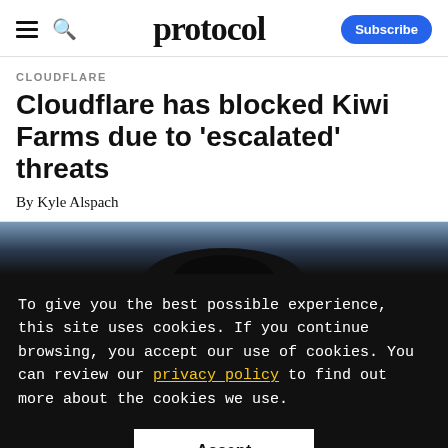protocol
CLOUDFLARE
Cloudflare has blocked Kiwi Farms due to 'escalated' threats
By Kyle Alspach
[Figure (photo): Dark silhouette photo strip, showing a dark figure against a blue-grey background]
To give you the best possible experience, this site uses cookies. If you continue browsing, you accept our use of cookies. You can review our privacy policy to find out more about the cookies we use.
Accept